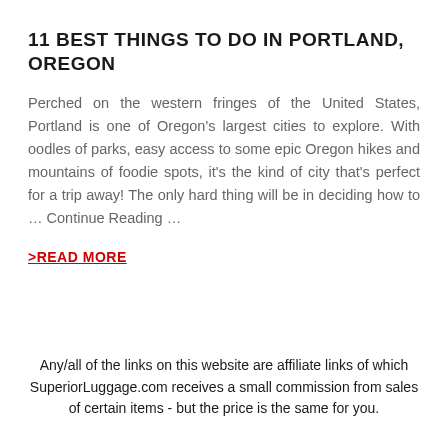11 BEST THINGS TO DO IN PORTLAND, OREGON
Perched on the western fringes of the United States, Portland is one of Oregon's largest cities to explore. With oodles of parks, easy access to some epic Oregon hikes and mountains of foodie spots, it's the kind of city that's perfect for a trip away! The only hard thing will be in deciding how to … Continue Reading …
>READ MORE
Any/all of the links on this website are affiliate links of which SuperiorLuggage.com receives a small commission from sales of certain items - but the price is the same for you.